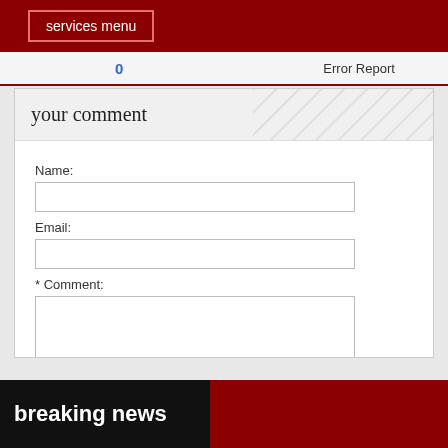services menu
0
Error Report
your comment
Name:
Email:
* Comment:
Send
breaking news